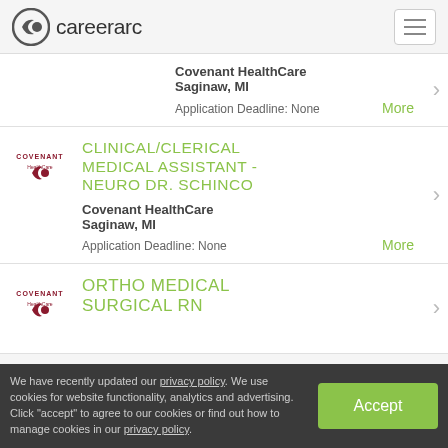careerarc
Covenant HealthCare
Saginaw, MI
Application Deadline: None
More
CLINICAL/CLERICAL MEDICAL ASSISTANT - NEURO DR. SCHINCO
Covenant HealthCare
Saginaw, MI
Application Deadline: None
More
ORTHO MEDICAL SURGICAL RN
We have recently updated our privacy policy. We use cookies for website functionality, analytics and advertising. Click "accept" to agree to our cookies or find out how to manage cookies in our privacy policy.
Accept